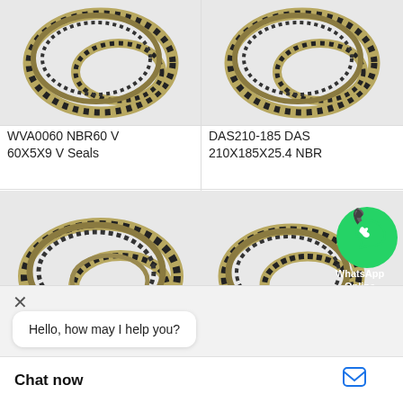[Figure (photo): V-seal ring (WVA0060 NBR60 V 60X5X9), black and tan colored rubber seal ring shown in coiled form]
WVA0060 NBR60 V 60X5X9 V Seals
[Figure (photo): DAS seal ring (DAS210-185 DAS 210X185X25.4 NBR), black and tan colored rubber seal ring shown in coiled form]
DAS210-185 DAS 210X185X25.4 NBR
[Figure (photo): Seal ring coiled, black and tan/khaki colored rubber seal ring, with WhatsApp Online badge overlay]
0091012 HALLITE (T53) DAS 140X115X25 NBR
Hello, how may I help you?
Chat now